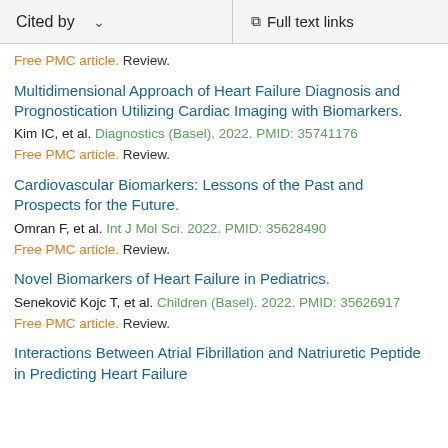Cited by   ∨   Full text links
Free PMC article. Review.
Multidimensional Approach of Heart Failure Diagnosis and Prognostication Utilizing Cardiac Imaging with Biomarkers.
Kim IC, et al. Diagnostics (Basel). 2022. PMID: 35741176
Free PMC article. Review.
Cardiovascular Biomarkers: Lessons of the Past and Prospects for the Future.
Omran F, et al. Int J Mol Sci. 2022. PMID: 35628490
Free PMC article. Review.
Novel Biomarkers of Heart Failure in Pediatrics.
Senekovič Kojc T, et al. Children (Basel). 2022. PMID: 35626917
Free PMC article. Review.
Interactions Between Atrial Fibrillation and Natriuretic Peptide in Predicting Heart Failure